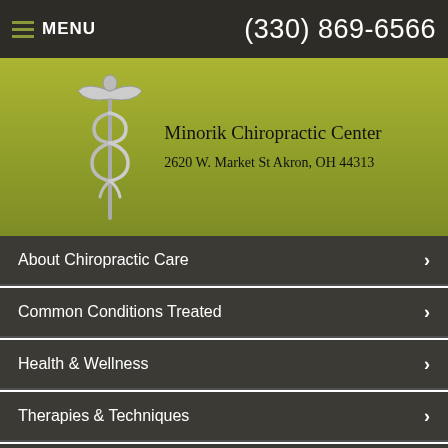MENU  (330) 869-6566
[Figure (logo): Minorik Chiropractic Center logo with caduceus symbol and text: Minorik Chiropractic Center, 2620 W. Market St Akron, OH 44313]
About Chiropractic Care
Common Conditions Treated
Health & Wellness
Therapies & Techniques
Newsletter Library
Wellness4Kids